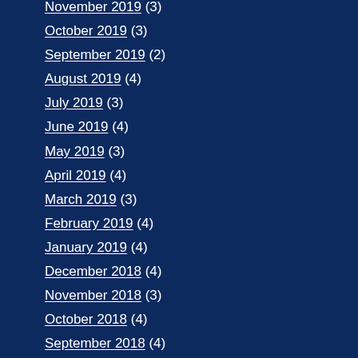November 2019 (3)
October 2019 (3)
September 2019 (2)
August 2019 (4)
July 2019 (3)
June 2019 (4)
May 2019 (3)
April 2019 (4)
March 2019 (3)
February 2019 (4)
January 2019 (4)
December 2018 (4)
November 2018 (3)
October 2018 (4)
September 2018 (4)